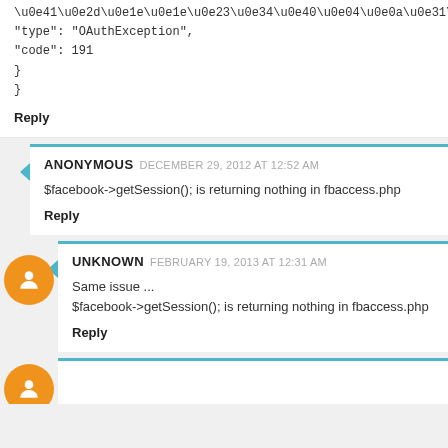\u0e41\u0e2d\u0e1e\u0e1e\u0e23\u0e34\u0e40\u0e04\u0e0a\u0e31\u0e19",
"type": "OAuthException",
"code": 191
}
}
Reply
ANONYMOUS  DECEMBER 29, 2012 AT 12:52 AM
$facebook->getSession(); is returning nothing in fbaccess.php
Reply
UNKNOWN  FEBRUARY 19, 2013 AT 12:31 AM
Same issue ...
$facebook->getSession(); is returning nothing in fbaccess.php
Reply